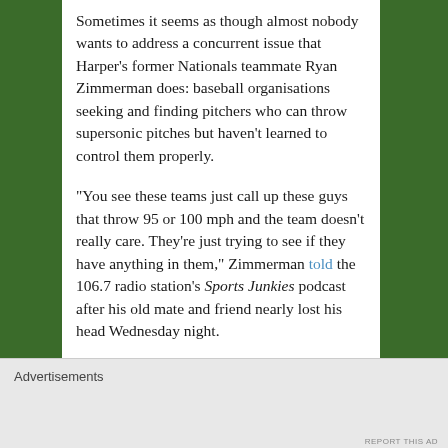Sometimes it seems as though almost nobody wants to address a concurrent issue that Harper's former Nationals teammate Ryan Zimmerman does: baseball organisations seeking and finding pitchers who can throw supersonic pitches but haven't learned to control them properly.
“You see these teams just call up these guys that throw 95 or 100 mph and the team doesn’t really care. They’re just trying to see if they have anything in them,” Zimmerman told the 106.7 radio station’s Sports Junkies podcast after his old mate and friend nearly lost his head Wednesday night.
A couple years ago, these guys would be in Double-A or Triple-A for another year trying to learn how to pitch but these teams just call them up to see if they can kinda
Advertisements